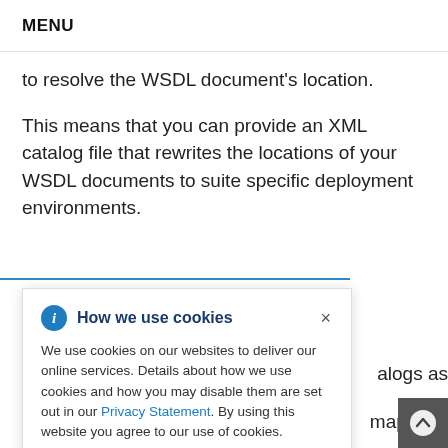MENU
to resolve the WSDL document's location.
This means that you can provide an XML catalog file that rewrites the locations of your WSDL documents to suite specific deployment environments.
[Figure (screenshot): Cookie consent popup overlay with info icon, title 'How we use cookies', close button (×), and body text about cookie usage with a link to Privacy Statement.]
alogs as
mapping: